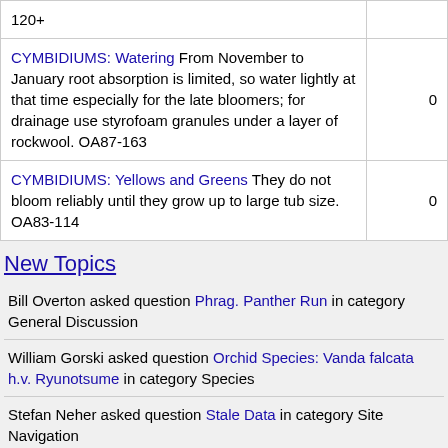| Topic | Count |
| --- | --- |
| 120+ |  |
| CYMBIDIUMS: Watering From November to January root absorption is limited, so water lightly at that time especially for the late bloomers; for drainage use styrofoam granules under a layer of rockwool. OA87-163 | 0 |
| CYMBIDIUMS: Yellows and Greens They do not bloom reliably until they grow up to large tub size. OA83-114 | 0 |
New Topics
Bill Overton asked question Phrag. Panther Run in category General Discussion
William Gorski asked question Orchid Species: Vanda falcata h.v. Ryunotsume in category Species
Stefan Neher asked question Stale Data in category Site Navigation
Penny Edwards asked question diseases in category Phalaenopsis
Penny Edwards asked question diseases in category Phalaenopsis